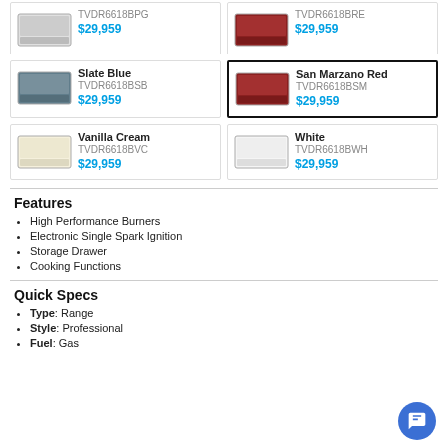[Figure (other): Product card (partial top) - appliance image TVDR6618BPG, price $29,959]
[Figure (other): Product card (partial top) - appliance image TVDR6618BRE, price $29,959]
[Figure (other): Product card - Slate Blue, TVDR6618BSB, $29,959]
[Figure (other): Product card selected - San Marzano Red, TVDR6618BSM, $29,959]
[Figure (other): Product card - Vanilla Cream, TVDR6618BVC, $29,959]
[Figure (other): Product card - White, TVDR6618BWH, $29,959]
Features
High Performance Burners
Electronic Single Spark Ignition
Storage Drawer
Cooking Functions
Quick Specs
Type: Range
Style: Professional
Fuel: Gas